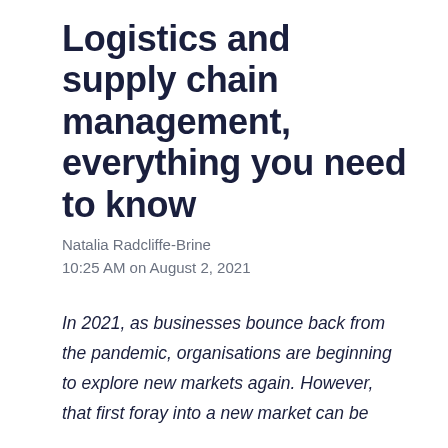Logistics and supply chain management, everything you need to know
Natalia Radcliffe-Brine
10:25 AM on August 2, 2021
In 2021, as businesses bounce back from the pandemic, organisations are beginning to explore new markets again. However, that first foray into a new market can be